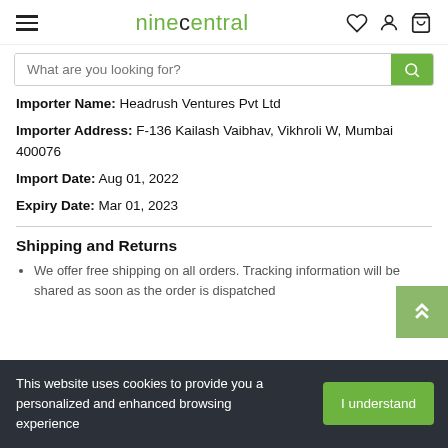ninecentral
Importer Name: Headrush Ventures Pvt Ltd
Importer Address: F-136 Kailash Vaibhav, Vikhroli W, Mumbai 400076
Import Date: Aug 01, 2022
Expiry Date: Mar 01, 2023
Shipping and Returns
We offer free shipping on all orders. Tracking information will be shared as soon as the order is dispatched
This website uses cookies to provide you a personalized and enhanced browsing experience